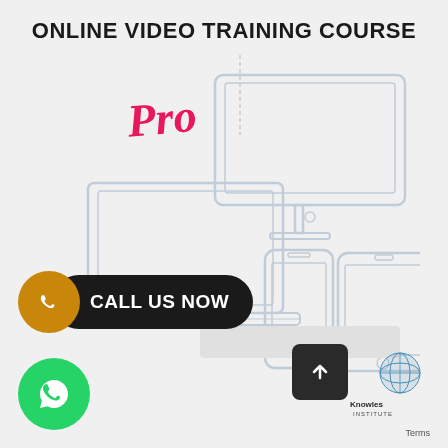ONLINE VIDEO TRAINING COURSE
[Figure (illustration): Illustration of multiple devices (desktop monitor, laptop, smartphone, tablet) outlined in light blue/grey, with a cursive pink 'Pro' text overlay and a vertical line connecting to the devices. Represents online video training accessible on multiple devices.]
CALL US NOW
[Figure (logo): Knowles Training Institute logo — blue globe icon with company name text]
Terms